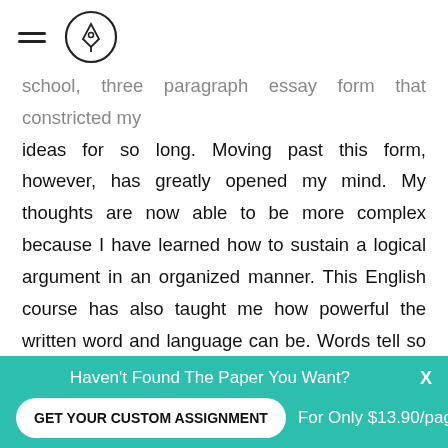school, three paragraph essay form that constricted my ideas for so long. Moving past this form, however, has greatly opened my mind. My thoughts are now able to be more complex because I have learned how to sustain a logical argument in an organized manner. This English course has also taught me how powerful the written word and language can be. Words tell so much more than a story. Stories tell about life and the human indention, they bring up the past and people and cultures that are long gone.
Haven't Found The Paper You Want?
GET YOUR CUSTOM ASSIGNMENT
For Only $13.90/page